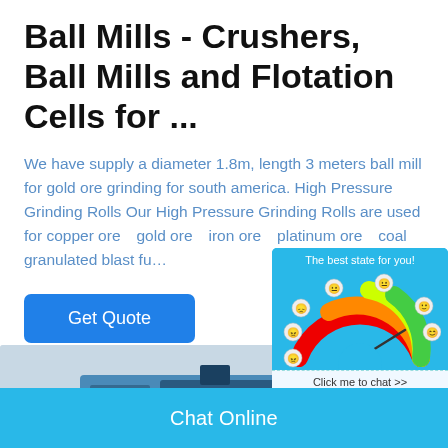Ball Mills - Crushers, Ball Mills and Flotation Cells for ...
We have supply a diameter 1.8m, length 3 meters ball mill for gold ore grinding for south america. High Pressure Grinding Rolls Our High Pressure Grinding Rolls are used for copper ore■gold ore■iron ore■platinum ore■coal■granulated blast fu...
[Figure (other): Blue 'Get Quote' button]
[Figure (infographic): Chat widget with gauge/speedometer showing sentiment states (angry to happy), text 'The best state for you!', and 'Click me to chat >>' button. Blue background widget overlaying main content.]
Enquiry
cywaitml @gmail.com
[Figure (photo): Industrial machinery photo, partially visible - appears to be blue and grey mining/milling equipment]
Chat Online